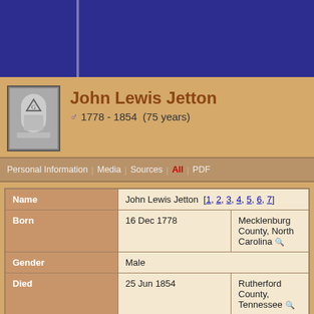John Lewis Jetton
Male 1778 - 1854 (75 years)
| Field | Date | Place/Value |
| --- | --- | --- |
| Name | John Lewis Jetton [1, 2, 3, 4, 5, 6, 7] |  |
| Born | 16 Dec 1778 | Mecklenburg County, North Carolina |
| Gender | Male |  |
| Died | 25 Jun 1854 | Rutherford County, Tennessee |
| Buried | Old City Cemetery, Murfreesboro, Rutherford, Tennessee |  |
| Person ID | I0913 | The Family Tree |
| Last Modified | 30 Dec 2014 |  |